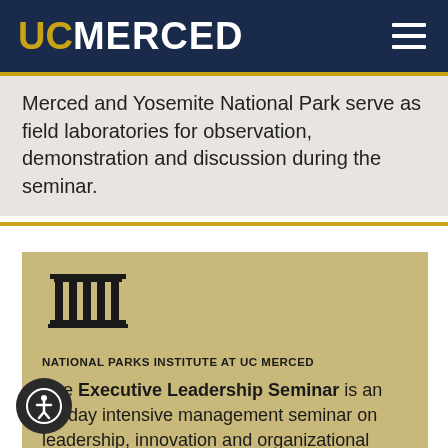UC MERCED
Merced and Yosemite National Park serve as field laboratories for observation, demonstration and discussion during the seminar.
[Figure (logo): National Parks Institute at UC Merced logo — classical columns/pillars icon above text]
NATIONAL PARKS INSTITUTE AT UC MERCED
The Executive Leadership Seminar is an 11-day intensive management seminar on leadership, innovation and organizational renewal for park and protected-area leaders.